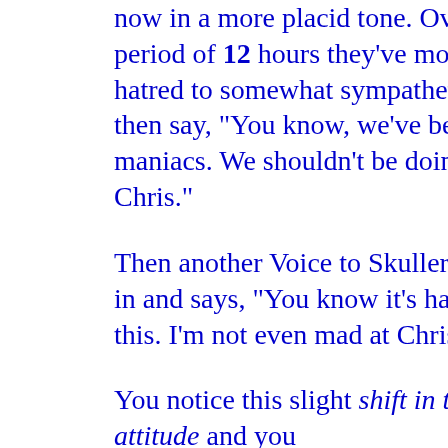now in a more placid tone. Over a period of 12 hours they've moved from hatred to somewhat sympathetic and then say, “You know, we've been maniacs. We shouldn’t be doing this to Chris.”
Then another Voice to Skuller chimes in and says, “You know it’s hard doing this. I’m not even mad at Chris.”
You notice this slight shift in their attitude and you
International Tribunal for Natural Justice
Investigative Reporting Workshop
National Coalition Against Censorship
Scanned Retina
The Committee to Protect Journalists
The Ground Truth Project
The Peace